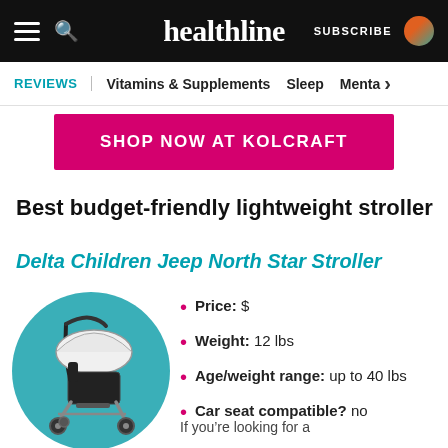healthline — SUBSCRIBE
REVIEWS | Vitamins & Supplements | Sleep | Menta >
[Figure (screenshot): Pink 'SHOP NOW AT KOLCRAFT' button]
Best budget-friendly lightweight stroller
Delta Children Jeep North Star Stroller
[Figure (photo): Delta Children Jeep North Star Stroller shown in a teal circle, black and white umbrella stroller]
Price: $
Weight: 12 lbs
Age/weight range: up to 40 lbs
Car seat compatible? no
If you're looking for a